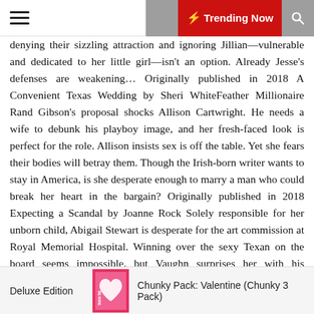Trending Now
denying their sizzling attraction and ignoring Jillian—vulnerable and dedicated to her little girl—isn't an option. Already Jesse's defenses are weakening… Originally published in 2018 A Convenient Texas Wedding by Sheri WhiteFeather Millionaire Rand Gibson's proposal shocks Allison Cartwright. He needs a wife to debunk his playboy image, and her fresh-faced look is perfect for the role. Allison insists sex is off the table. Yet she fears their bodies will betray them. Though the Irish-born writer wants to stay in America, is she desperate enough to marry a man who could break her heart in the bargain? Originally published in 2018 Expecting a Scandal by Joanne Rock Solely responsible for her unborn child, Abigail Stewart is desperate for the art commission at Royal Memorial Hospital. Winning over the sexy Texan on the board seems impossible, but Vaughn surprises her with his response. And his attention. And a sizzling connection that defies all logic. But even if he can accept her baby, will Vaughn's dark past tear them apart? Originally published in 2018
Deluxe Edition
Chunky Pack: Valentine (Chunky 3 Pack)